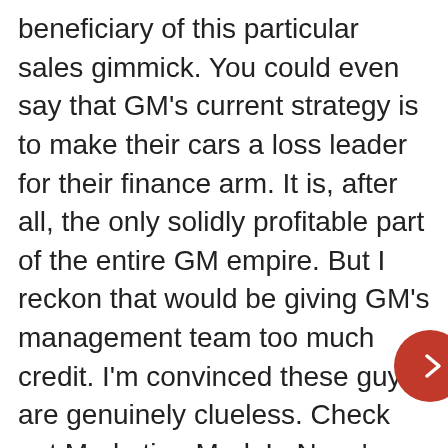beneficiary of this particular sales gimmick. You could even say that GM's current strategy is to make their cars a loss leader for their finance arm. It is, after all, the only solidly profitable part of the entire GM empire. But I reckon that would be giving GM's management team too much credit. I'm convinced these guys are genuinely clueless. Check out Marketing Mark LaNeve's rearguard action on the discount program's effect on GM branding, outlined in an email to The Detroit News:
"This program gives us a great platform to get out our quality and fuel economy story and